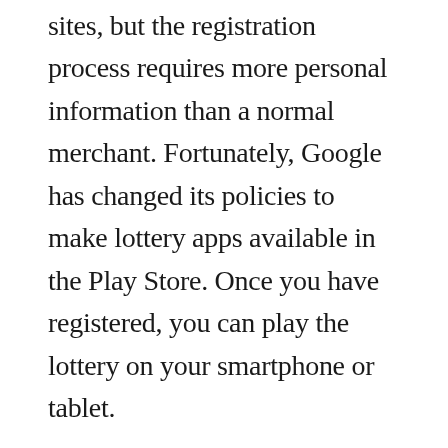is similar to other gambling sites, but the registration process requires more personal information than a normal merchant. Fortunately, Google has changed its policies to make lottery apps available in the Play Store. Once you have registered, you can play the lottery on your smartphone or tablet.
The US has a lot of lottery options available, including lottery games in states like New Hampshire and Puerto Rico. There are also state lotteries in Canada, Puerto Rico, and the US Virgin Islands. In the US, there are 45 state-run lottery systems, including Washington DC. Several states, including Rhode Island, have